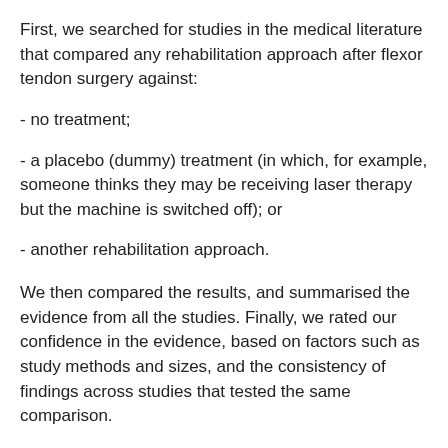First, we searched for studies in the medical literature that compared any rehabilitation approach after flexor tendon surgery against:
- no treatment;
- a placebo (dummy) treatment (in which, for example, someone thinks they may be receiving laser therapy but the machine is switched off); or
- another rehabilitation approach.
We then compared the results, and summarised the evidence from all the studies. Finally, we rated our confidence in the evidence, based on factors such as study methods and sizes, and the consistency of findings across studies that tested the same comparison.
What did we find?